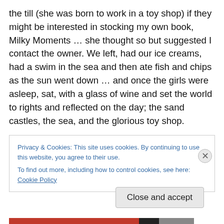the till (she was born to work in a toy shop) if they might be interested in stocking my own book, Milky Moments … she thought so but suggested I contact the owner. We left, had our ice creams, had a swim in the sea and then ate fish and chips as the sun went down … and once the girls were asleep, sat, with a glass of wine and set the world to rights and reflected on the day; the sand castles, the sea, and the glorious toy shop.

A few months on and the same glorious toy ship is now stocking my book, and they  sent me a gift. Well not me
Privacy & Cookies: This site uses cookies. By continuing to use this website, you agree to their use.
To find out more, including how to control cookies, see here: Cookie Policy